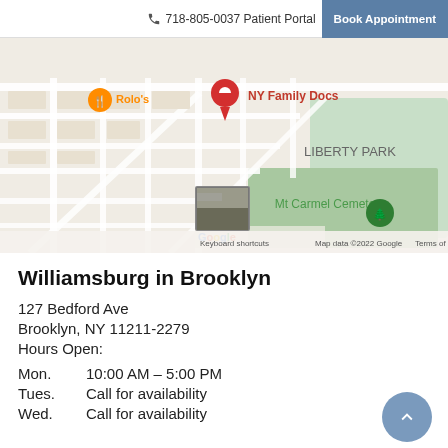718-805-0037 Patient Portal  Book Appointment
[Figure (map): Google Map showing location of NY Family Docs near Liberty Park and Mt Carmel Cemetery, Brooklyn NY. Rolo's restaurant marker visible. Keyboard shortcuts and Map data ©2022 Google Terms of Use shown at bottom.]
Williamsburg in Brooklyn
127 Bedford Ave
Brooklyn, NY 11211-2279
Hours Open:
Mon.  10:00 AM – 5:00 PM
Tues.  Call for availability
Wed.  Call for availability